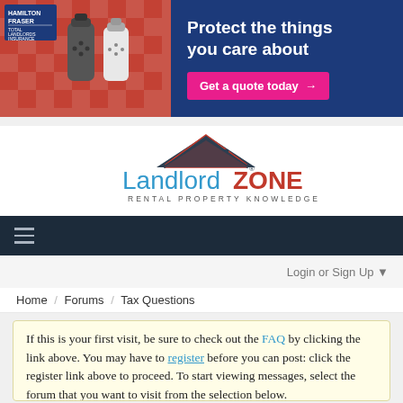[Figure (infographic): Hamilton Fraser Total Landlords Insurance advertisement banner with salt and pepper shakers on a checked tablecloth background. Text: 'Protect the things you care about' with a pink 'Get a quote today →' button.]
[Figure (logo): LandlordZone logo with house roof icon. Text: 'LandlordZONE RENTAL PROPERTY KNOWLEDGE']
[Figure (infographic): Dark navy navigation bar with hamburger menu icon (three horizontal lines)]
Login or Sign Up ▼
Home / Forums / Tax Questions
If this is your first visit, be sure to check out the FAQ by clicking the link above. You may have to register before you can post: click the register link above to proceed. To start viewing messages, select the forum that you want to visit from the selection below.